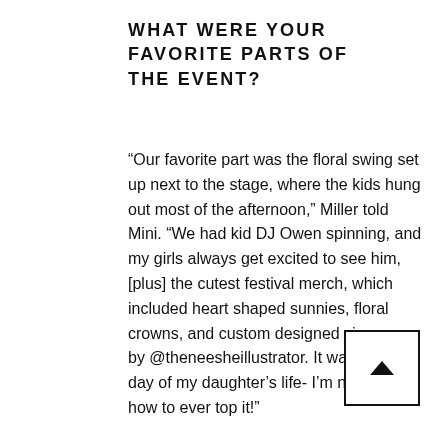WHAT WERE YOUR FAVORITE PARTS OF THE EVENT?
“Our favorite part was the floral swing set up next to the stage, where the kids hung out most of the afternoon,” Miller told Mini. “We had kid DJ Owen spinning, and my girls always get excited to see him, [plus] the cutest festival merch, which included heart shaped sunnies, floral crowns, and custom designed vip passes by @theneesheillustrator. It was the best day of my daughter’s life- I’m not sure how to ever top it!”